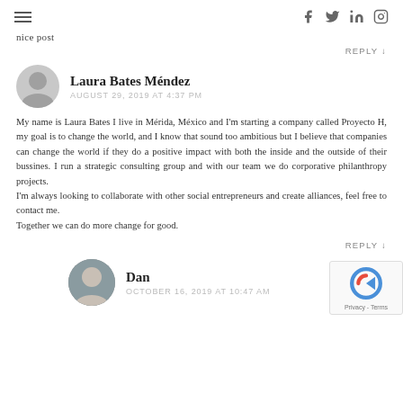≡  [social icons: facebook, twitter, linkedin, instagram]
nice post
REPLY ↓
Laura Bates Méndez
AUGUST 29, 2019 AT 4:37 PM
My name is Laura Bates I live in Mérida, México and I'm starting a company called Proyecto H, my goal is to change the world, and I know that sound too ambitious but I believe that companies can change the world if they do a positive impact with both the inside and the outside of their bussines. I run a strategic consulting group and with our team we do corporative philanthropy projects.
I'm always looking to collaborate with other social entrepreneurs and create alliances, feel free to contact me.
Together we can do more change for good.
REPLY ↓
Dan
OCTOBER 16, 2019 AT 10:47 AM